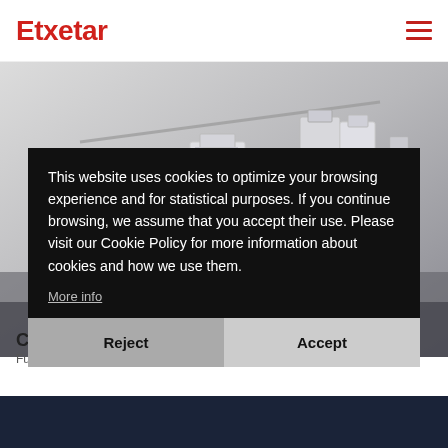Etxetar
[Figure (photo): Aerial/isometric view of industrial manufacturing machinery in grey tones]
Co...
Fu... co...
This website uses cookies to optimize your browsing experience and for statistical purposes. If you continue browsing, we assume that you accept their use. Please visit our Cookie Policy for more information about cookies and how we use them.
More info
Reject
Accept